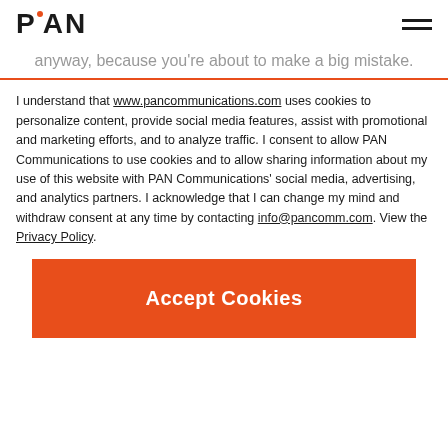PAN
anyway, because you're about to make a big mistake.
I understand that www.pancommunications.com uses cookies to personalize content, provide social media features, assist with promotional and marketing efforts, and to analyze traffic. I consent to allow PAN Communications to use cookies and to allow sharing information about my use of this website with PAN Communications' social media, advertising, and analytics partners. I acknowledge that I can change my mind and withdraw consent at any time by contacting info@pancomm.com. View the Privacy Policy.
Accept Cookies